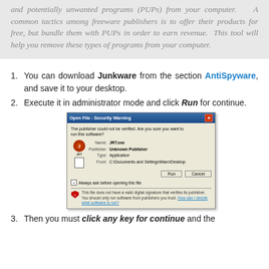and potentially unwanted programs (PUPs) from your computer. A common tactics among freeware publishers is to offer their products for free, but bundle them with PUPs in order to earn revenue. This tool will help you remove these types of programs from your computer.
You can download Junkware from the section AntiSpyware, and save it to your desktop.
Execute it in administrator mode and click Run for continue.
[Figure (screenshot): Windows XP Open File - Security Warning dialog box showing JRT.exe from Unknown Publisher, with Run and Cancel buttons.]
Then you must click any key for continue and the